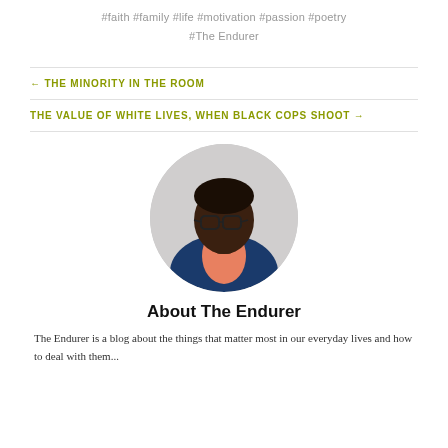#faith   #family   #life   #motivation   #passion   #poetry
#The Endurer
← THE MINORITY IN THE ROOM
THE VALUE OF WHITE LIVES, WHEN BLACK COPS SHOOT →
[Figure (photo): Circular portrait photo of a man wearing a blue blazer and salmon/pink shirt, with glasses, against a light background.]
About The Endurer
The Endurer is a blog about...